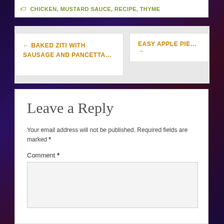🏷 CHICKEN, MUSTARD SAUCE, RECIPE, THYME
← BAKED ZITI WITH SAUSAGE AND PANCETTA…
EASY APPLE PIE… →
Leave a Reply
Your email address will not be published. Required fields are marked *
Comment *